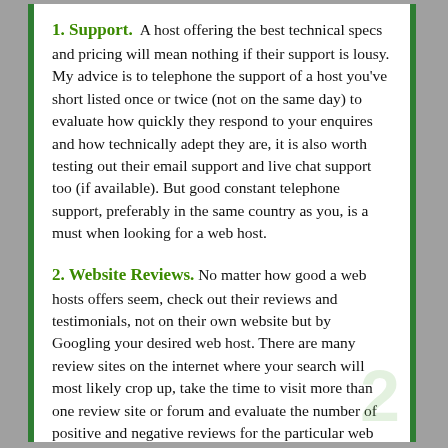1. Support. A host offering the best technical specs and pricing will mean nothing if their support is lousy. My advice is to telephone the support of a host you've short listed once or twice (not on the same day) to evaluate how quickly they respond to your enquires and how technically adept they are, it is also worth testing out their email support and live chat support too (if available). But good constant telephone support, preferably in the same country as you, is a must when looking for a web host.
2. Website Reviews. No matter how good a web hosts offers seem, check out their reviews and testimonials, not on their own website but by Googling your desired web host. There are many review sites on the internet where your search will most likely crop up, take the time to visit more than one review site or forum and evaluate the number of positive and negative reviews for the particular web host.